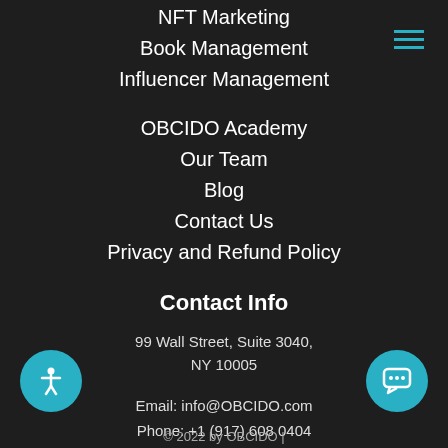NFT Marketing
Book Management
Influencer Management
OBCIDO Academy
Our Team
Blog
Contact Us
Privacy and Refund Policy
Contact Info
99 Wall Street, Suite 3040,
NY 10005
Email: info@OBCIDO.com
Phone: +1 (917) 608 0404
© 2022 by OBCIDO |